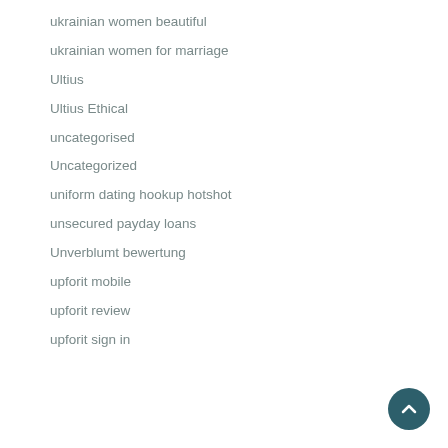ukrainian women beautiful
ukrainian women for marriage
Ultius
Ultius Ethical
uncategorised
Uncategorized
uniform dating hookup hotshot
unsecured payday loans
Unverblumt bewertung
upforit mobile
upforit review
upforit sign in